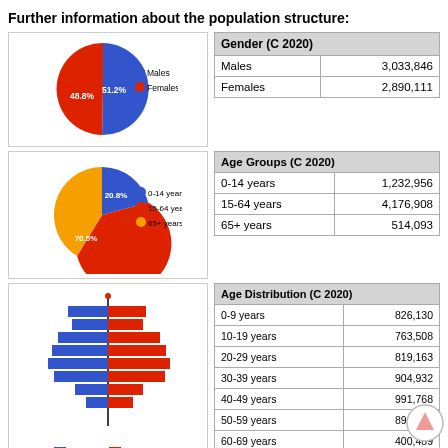Further information about the population structure:
[Figure (pie-chart): Gender]
| Gender (C 2020) |  |
| --- | --- |
| Males | 3,033,846 |
| Females | 2,890,111 |
[Figure (pie-chart): Age Groups]
| Age Groups (C 2020) |  |
| --- | --- |
| 0-14 years | 1,232,956 |
| 15-64 years | 4,176,908 |
| 65+ years | 514,093 |
[Figure (bar-chart): Age Distribution]
| Age Distribution (C 2020) |  |
| --- | --- |
| 0-9 years | 826,130 |
| 10-19 years | 763,508 |
| 20-29 years | 819,163 |
| 30-39 years | 904,932 |
| 40-49 years | 991,768 |
| 50-59 years | 899,054 |
| 60-69 years | 400,489 |
| 70-79 years | 232,316 |